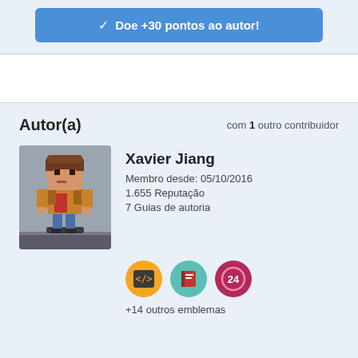[Figure (screenshot): Blue button with checkmark: 'Doe +30 pontos ao autor!']
Autor(a)
com 1 outro contribuidor
[Figure (illustration): Pixel art avatar of a character standing on a platform, against a gray background]
Xavier Jiang
Membro desde: 05/10/2016
1.655 Reputação
7 Guias de autoria
[Figure (illustration): Three badge icons: orange code badge, teal book badge, pink 24h badge]
+14 outros emblemas